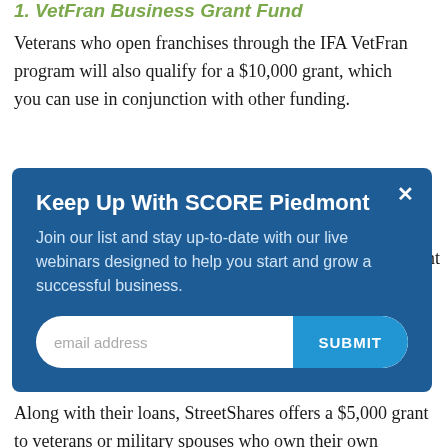1. VetFran Business Grant Fund
Veterans who open franchises through the IFA VetFran program will also qualify for a $10,000 grant, which you can use in conjunction with other funding.
[Figure (other): Popup modal overlay from SCORE Piedmont with newsletter signup form, email input field, and SUBMIT button]
Veteran Business Award
Along with their loans, StreetShares offers a $5,000 grant to veterans or military spouses who own their own businesses.